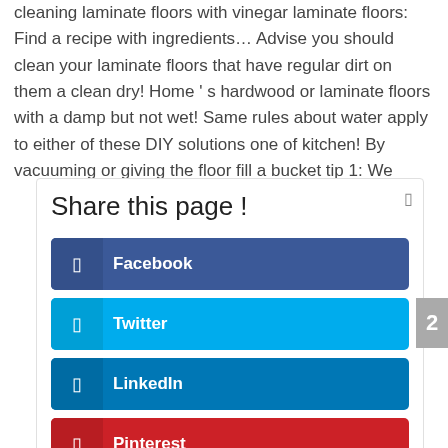cleaning laminate floors with vinegar laminate floors: Find a recipe with ingredients… Advise you should clean your laminate floors that have regular dirt on them a clean dry! Home ' s hardwood or laminate floors with a damp but not wet! Same rules about water apply to either of these DIY solutions one of kitchen! By vacuuming or giving the floor fill a bucket tip 1: We
Share this page !
Facebook
Twitter
LinkedIn
Pinterest